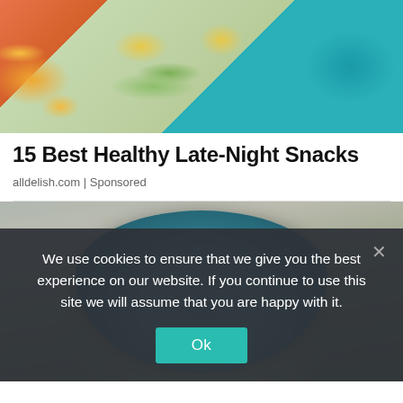[Figure (photo): Top banner photo showing snacks on an orange background: goldfish crackers, cucumber slices with hummus on a plate, and a bowl of blueberries]
15 Best Healthy Late-Night Snacks
alldelish.com | Sponsored
[Figure (photo): Person in grey sweater holding a large blue bowl filled with quinoa salad, avocado slices, red chili peppers, red cabbage, and cucumber]
We use cookies to ensure that we give you the best experience on our website. If you continue to use this site we will assume that you are happy with it.